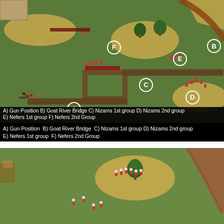[Figure (photo): Overhead view of a wargaming tabletop battlefield scene on green felt mat. Shows miniature soldiers arranged in formations labeled A through F. Stone walls form an enclosure in the center-right. Various terrain features including sandy areas, trees, and a bridge. White circled letters mark: A) Gun Position (lower left), B) Goat River Bridge (upper right), C) Nizams 1st group (center), D) Nizams 2nd group (right-center), E) Nefers 1st group (upper center), F) Nefers 2nd Group (upper left).]
A) Gun Position  B) Goat River Bridge  C) Nizams 1st group D) Nizams 2nd group E) Nefers 1st group  F) Nefers 2nd Group
[Figure (photo): Close-up view of a wargaming tabletop scene on green felt mat showing miniature soldiers in red uniforms scattered across the battlefield. A sandy terrain island with a tree sits in the center. A reddish-brown road or river runs diagonally on the right side.]